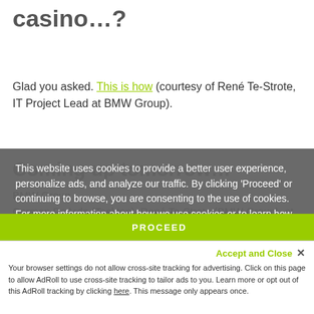BMW is into a Las Vegas casino…?
Glad you asked. This is how (courtesy of René Te-Strote, IT Project Lead at BMW Group).
Coming up tomorrow…
Carmen DeArdo (Tasktop), René Te-Strote (BMW Group), at 11:35–1:15 (Sponsored Breakout, Mont-Royal)
This website uses cookies to provide a better user experience, personalize ads, and analyze our traffic. By clicking 'Proceed' or continuing to browse, you are consenting to the use of cookies. For more information about how we use cookies or to learn how you can disable cookies, click 'Learn more'.
Learn more
PROCEED
Accept and Close ✕
Your browser settings do not allow cross-site tracking for advertising. Click on this page to allow AdRoll to use cross-site tracking to tailor ads to you. Learn more or opt out of this AdRoll tracking by clicking here. This message only appears once.